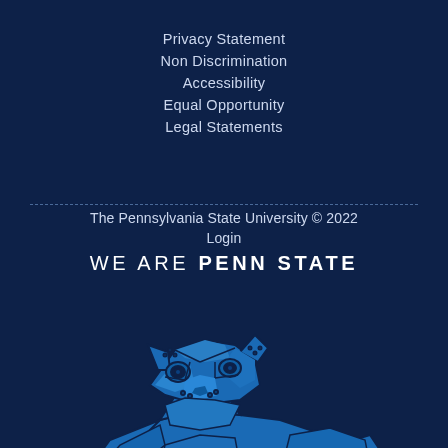Privacy Statement
Non Discrimination
Accessibility
Equal Opportunity
Legal Statements
The Pennsylvania State University © 2022
Login
WE ARE PENN STATE
[Figure (illustration): Penn State Nittany Lion mascot statue illustration in blue line art style on dark navy background, showing the head, shoulders and upper body of the lion facing slightly left]